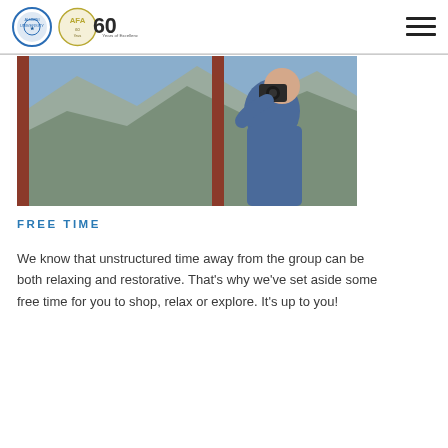Logo header with two organization logos and hamburger menu
[Figure (photo): Elderly man in blue sweater holding a camera up to his face, photographing scenery through a window or doorway with rocky mountain background]
FREE TIME
We know that unstructured time away from the group can be both relaxing and restorative. That's why we've set aside some free time for you to shop, relax or explore. It's up to you!